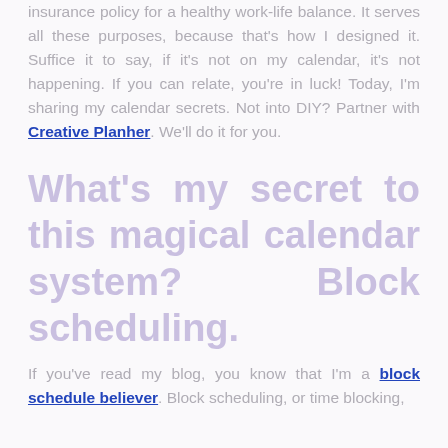insurance policy for a healthy work-life balance. It serves all these purposes, because that's how I designed it. Suffice it to say, if it's not on my calendar, it's not happening. If you can relate, you're in luck! Today, I'm sharing my calendar secrets. Not into DIY? Partner with Creative Planher. We'll do it for you.
What's my secret to this magical calendar system?  Block scheduling.
If you've read my blog, you know that I'm a block schedule believer. Block scheduling, or time blocking,